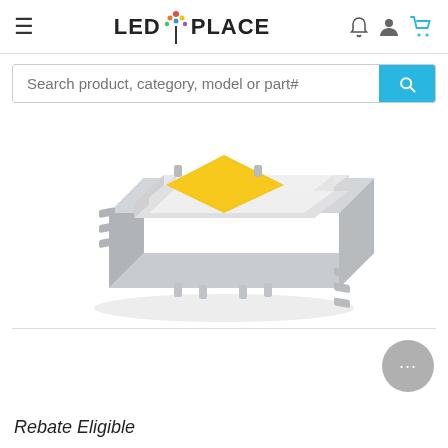LEDMYPlace navigation header with hamburger menu, logo, bell, user, and cart icons
Search product, category, model or part#
[Figure (photo): LED COB chip module product photo — a square white plastic frame with a yellow diamond-shaped LED emitter in the center, photographed at an angle showing perspective on a white background]
Rebate Eligible